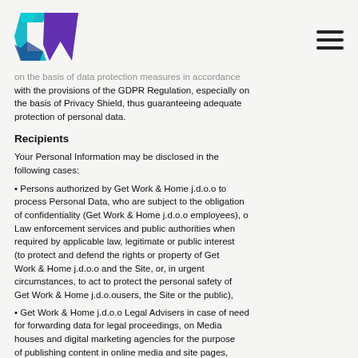[Figure (logo): CW logo — angular geometric shapes in teal/cyan and purple/violet forming letters C and W]
on the basis of data protection measures in accordance with the provisions of the GDPR Regulation, especially on the basis of Privacy Shield, thus guaranteeing adequate protection of personal data.
Recipients
Your Personal Information may be disclosed in the following cases:
• Persons authorized by Get Work & Home j.d.o.o to process Personal Data, who are subject to the obligation of confidentiality (Get Work & Home j.d.o.o employees), o Law enforcement services and public authorities when required by applicable law, legitimate or public interest (to protect and defend the rights or property of Get Work & Home j.d.o.o and the Site, or, in urgent circumstances, to act to protect the personal safety of Get Work & Home j.d.o.ousers, the Site or the public),
• Get Work & Home j.d.o.o Legal Advisers in case of need for forwarding data for legal proceedings, on Media houses and digital marketing agencies for the purpose of publishing content in online media and site pages,